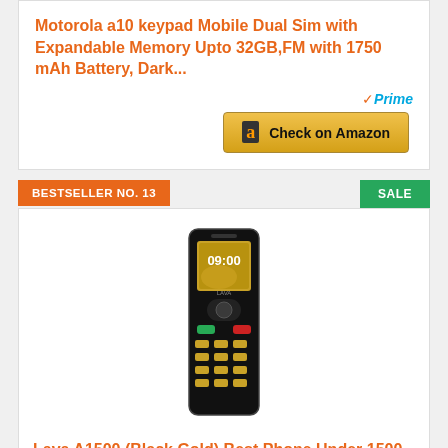Motorola a10 keypad Mobile Dual Sim with Expandable Memory Upto 32GB,FM with 1750 mAh Battery, Dark...
[Figure (other): Amazon Prime badge and Check on Amazon button]
BESTSELLER NO. 13
SALE
[Figure (photo): Lava A1500 Black Gold keypad mobile phone product image]
Lava A1500 (Black Gold),Best Phone Under 1500, 6 Days Battery Backup, Military Grade